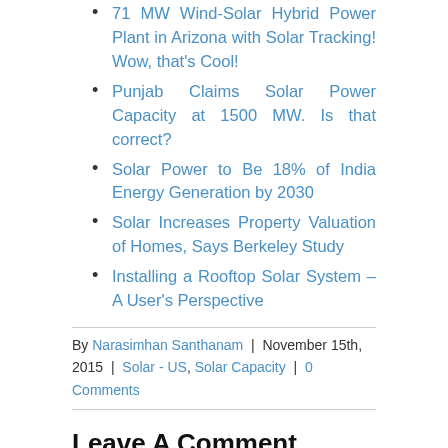71 MW Wind-Solar Hybrid Power Plant in Arizona with Solar Tracking! Wow, that's Cool!
Punjab Claims Solar Power Capacity at 1500 MW. Is that correct?
Solar Power to Be 18% of India Energy Generation by 2030
Solar Increases Property Valuation of Homes, Says Berkeley Study
Installing a Rooftop Solar System – A User's Perspective
By Narasimhan Santhanam | November 15th, 2015 | Solar - US, Solar Capacity | 0 Comments
Leave A Comment